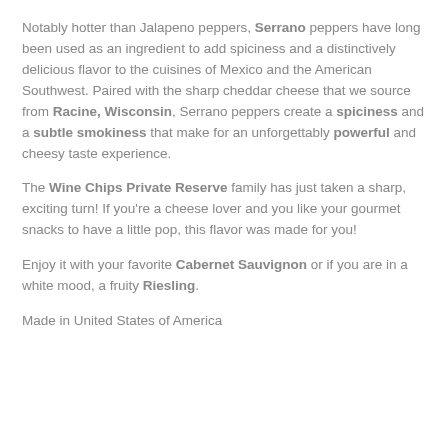Notably hotter than Jalapeno peppers, Serrano peppers have long been used as an ingredient to add spiciness and a distinctively delicious flavor to the cuisines of Mexico and the American Southwest. Paired with the sharp cheddar cheese that we source from Racine, Wisconsin, Serrano peppers create a spiciness and a subtle smokiness that make for an unforgettably powerful and cheesy taste experience.
The Wine Chips Private Reserve family has just taken a sharp, exciting turn! If you're a cheese lover and you like your gourmet snacks to have a little pop, this flavor was made for you!
Enjoy it with your favorite Cabernet Sauvignon or if you are in a white mood, a fruity Riesling.
Made in United States of America